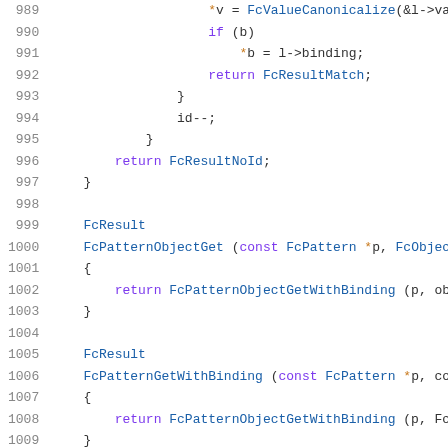[Figure (screenshot): Source code listing showing C code lines 989-1009 with syntax highlighting. Line numbers in gray on left, code in monospace font with purple keywords, blue function names, and gold pointer symbols.]